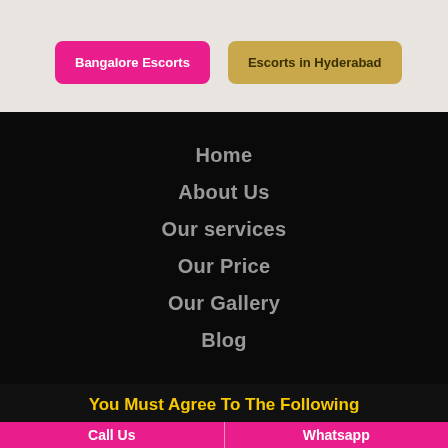Bangalore Escorts
Escorts in Hyderabad
Home
About Us
Our services
Our Price
Our Gallery
Blog
You Must Agree To The Following
Call Us    Whatsapp